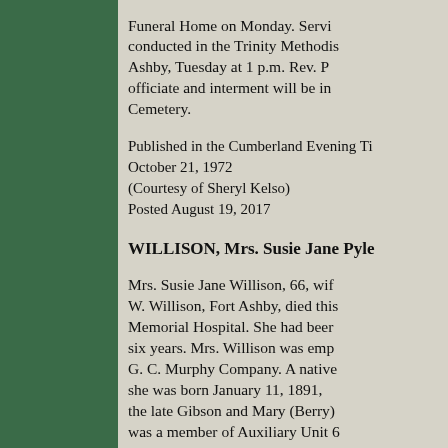Funeral Home on Monday. Services conducted in the Trinity Methodist Church, Fort Ashby, Tuesday at 1 p.m. Rev. P. officiate and interment will be in Cemetery.
Published in the Cumberland Evening Times October 21, 1972
(Courtesy of Sheryl Kelso)
Posted August 19, 2017
WILLISON, Mrs. Susie Jane Pyle
Mrs. Susie Jane Willison, 66, wife of W. Willison, Fort Ashby, died this Memorial Hospital. She had been six years. Mrs. Willison was employed G. C. Murphy Company. A native she was born January 11, 1891, the late Gibson and Mary (Berry) was a member of Auxiliary Unit 6 Fort Ashby. Besides her husband survived by three sons, Oscar D. Huttsville, Lee W. Willison, Fort